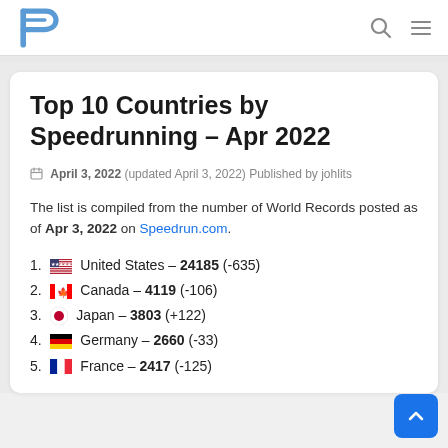PowerPages logo with search and menu icons
Top 10 Countries by Speedrunning – Apr 2022
April 3, 2022 (updated April 3, 2022) Published by johlits
The list is compiled from the number of World Records posted as of Apr 3, 2022 on Speedrun.com.
1. United States – 24185 (-635)
2. Canada – 4119 (-106)
3. Japan – 3803 (+122)
4. Germany – 2660 (-33)
5. France – 2417 (-125)